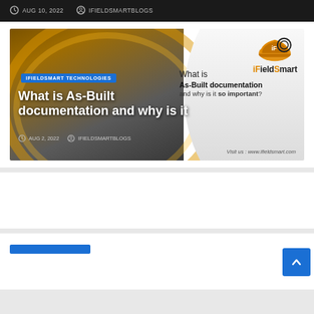AUG 10, 2022   IFIELDSMARTBLOGS
[Figure (screenshot): iFieldSmart Technologies blog thumbnail image for 'What is As-Built documentation and why is it so important?' article. Shows a construction-themed banner with orange/gold gradient, iFieldSmart logo with helmet graphic, the article title in white bold text on the left, and a text overlay on the right side. Published AUG 2, 2022 by IFIELDSMARTBLOGS. Visit us: www.ifieldsmart.com]